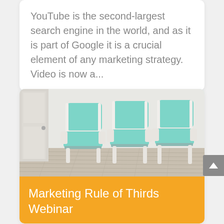YouTube is the second-largest search engine in the world, and as it is part of Google it is a crucial element of any marketing strategy. Video is now a...
[Figure (photo): Three teal/mint colored lounge chairs with white frames lined up in a row against a white wall, on a light wood floor. A white door is visible on the left.]
Marketing Rule of Thirds Webinar